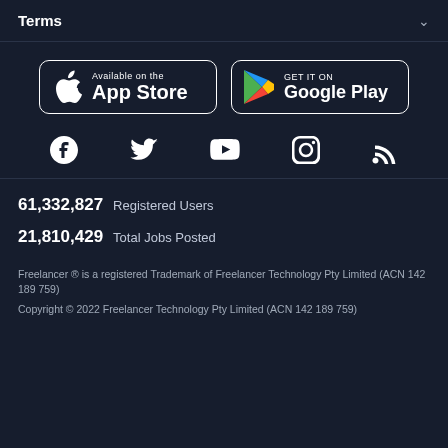Terms
[Figure (logo): App Store and Google Play download buttons]
[Figure (infographic): Social media icons: Facebook, Twitter, YouTube, Instagram, RSS]
61,332,827  Registered Users
21,810,429  Total Jobs Posted
Freelancer ® is a registered Trademark of Freelancer Technology Pty Limited (ACN 142 189 759)
Copyright © 2022 Freelancer Technology Pty Limited (ACN 142 189 759)